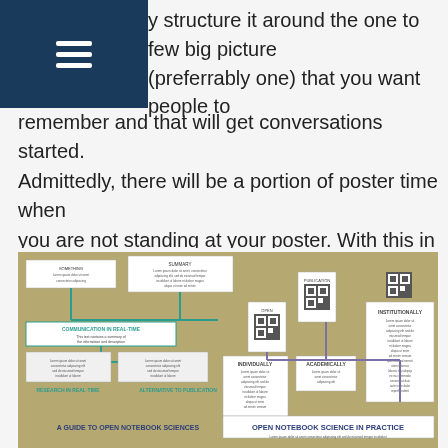[hamburger menu icon]
y structure it around the one to few big picture (preferrably one) that you want people to remember and that will get conversations started. Admittedly, there will be a portion of poster time when you are not standing at your poster. With this in mind, content wise, your poster should contain a complete story (without being overwhelming in detail). Take a look at the following poster, which provides an introduction to open science for scientists. The poster focuses on big picture ideas, with web links (and associated QR codes) provided in the poster, if readers want further information.
[Figure (infographic): A poster about open notebook science showing a flowchart/diagram with sections including 'Communication in Real-Time', 'Research in Real-Time', 'Alternative to Publication', 'Individually', 'Academically', 'Institutionally', and 'Open Notebook Science in Practice'. The poster has a tan/olive background with teal and purple connector lines, white text boxes, and QR codes.]